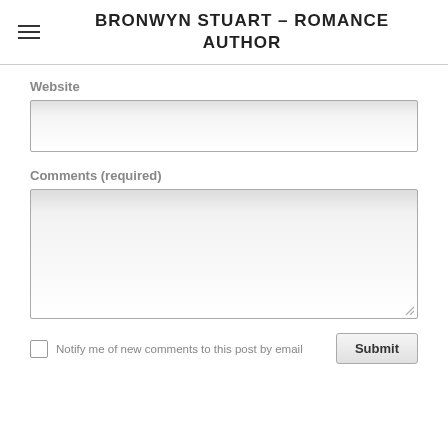BRONWYN STUART – ROMANCE AUTHOR
Website
Comments (required)
Notify me of new comments to this post by email
Submit